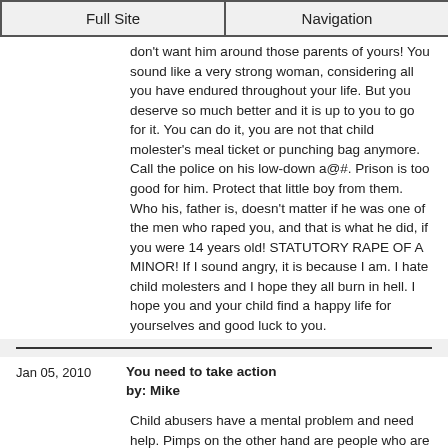Full Site | Navigation
don't want him around those parents of yours! You sound like a very strong woman, considering all you have endured throughout your life. But you deserve so much better and it is up to you to go for it. You can do it, you are not that child molester's meal ticket or punching bag anymore. Call the police on his low-down a@#. Prison is too good for him. Protect that little boy from them. Who his, father is, doesn't matter if he was one of the men who raped you, and that is what he did, if you were 14 years old! STATUTORY RAPE OF A MINOR! If I sound angry, it is because I am. I hate child molesters and I hope they all burn in hell. I hope you and your child find a happy life for yourselves and good luck to you.
Jan 05, 2010
You need to take action
by: Mike
Child abusers have a mental problem and need help. Pimps on the other hand are people who are abusing their power over younger victims for their own gain. Your father is both and needs to be put away. He has done irreversible damage